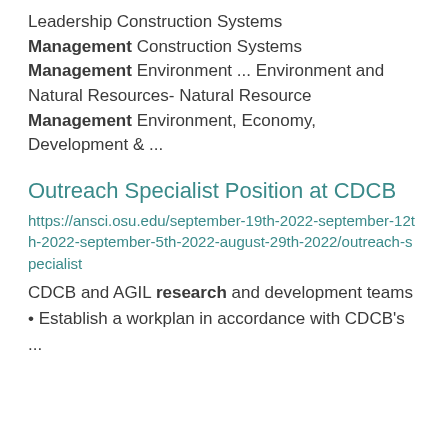Leadership Construction Systems Management Construction Systems Management Environment ... Environment and Natural Resources- Natural Resource Management Environment, Economy, Development & ...
Outreach Specialist Position at CDCB
https://ansci.osu.edu/september-19th-2022-september-12th-2022-september-5th-2022-august-29th-2022/outreach-specialist
CDCB and AGIL research and development teams • Establish a workplan in accordance with CDCB's ...